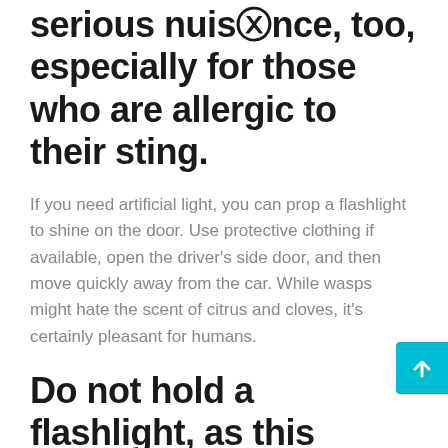serious nuisance, too, especially for those who are allergic to their sting.
If you need artificial light, you can prop a flashlight to shine on the door. Use protective clothing if available, open the driver's side door, and then move quickly away from the car. While wasps might hate the scent of citrus and cloves, it's certainly pleasant for humans.
Do not hold a flashlight, as this might help wasps target you.
That's why try the below essential oil remedies to keep them far away from your property. Wasps love the heat that comes from your car